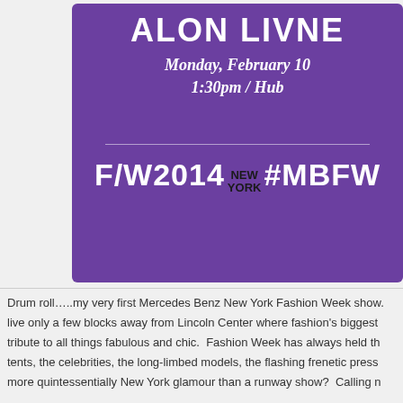[Figure (photo): Purple invitation card for Alon Livne F/W 2014 New York Mercedes-Benz Fashion Week show, Monday February 10 at 1:30pm at Hub]
Drum roll…..my very first Mercedes Benz New York Fashion Week show. live only a few blocks away from Lincoln Center where fashion's biggest tribute to all things fabulous and chic. Fashion Week has always held the tents, the celebrities, the long-limbed models, the flashing frenetic press more quintessentially New York glamour than a runway show? Calling n